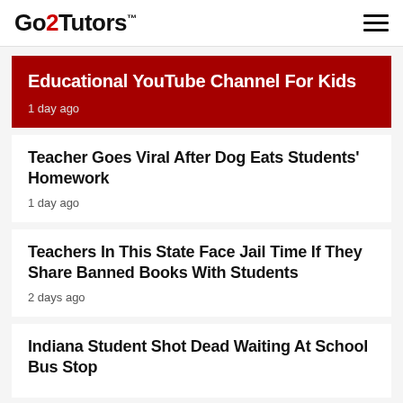Go2Tutors™
Educational YouTube Channel For Kids
1 day ago
Teacher Goes Viral After Dog Eats Students' Homework
1 day ago
Teachers In This State Face Jail Time If They Share Banned Books With Students
2 days ago
Indiana Student Shot Dead Waiting At School Bus Stop